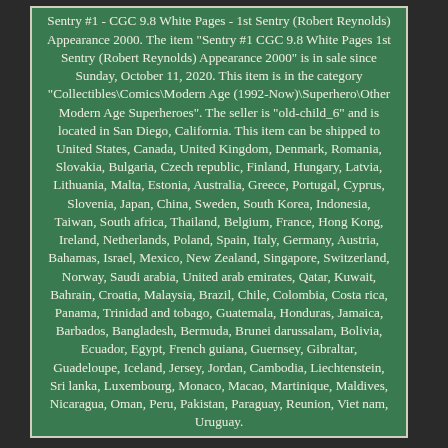Sentry #1 - CGC 9.8 White Pages - 1st Sentry (Robert Reynolds) Appearance 2000. The item "Sentry #1 CGC 9.8 White Pages 1st Sentry (Robert Reynolds) Appearance 2000" is in sale since Sunday, October 11, 2020. This item is in the category "Collectibles\Comics\Modern Age (1992-Now)\Superhero\Other Modern Age Superheroes". The seller is "old-child_6" and is located in San Diego, California. This item can be shipped to United States, Canada, United Kingdom, Denmark, Romania, Slovakia, Bulgaria, Czech republic, Finland, Hungary, Latvia, Lithuania, Malta, Estonia, Australia, Greece, Portugal, Cyprus, Slovenia, Japan, China, Sweden, South Korea, Indonesia, Taiwan, South africa, Thailand, Belgium, France, Hong Kong, Ireland, Netherlands, Poland, Spain, Italy, Germany, Austria, Bahamas, Israel, Mexico, New Zealand, Singapore, Switzerland, Norway, Saudi arabia, United arab emirates, Qatar, Kuwait, Bahrain, Croatia, Malaysia, Brazil, Chile, Colombia, Costa rica, Panama, Trinidad and tobago, Guatemala, Honduras, Jamaica, Barbados, Bangladesh, Bermuda, Brunei darussalam, Bolivia, Ecuador, Egypt, French guiana, Guernsey, Gibraltar, Guadeloupe, Iceland, Jersey, Jordan, Cambodia, Liechtenstein, Sri lanka, Luxembourg, Monaco, Macao, Martinique, Maldives, Nicaragua, Oman, Peru, Pakistan, Paraguay, Reunion, Viet nam, Uruguay.